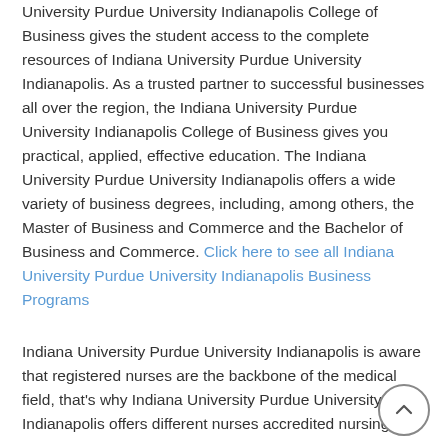University Purdue University Indianapolis College of Business gives the student access to the complete resources of Indiana University Purdue University Indianapolis. As a trusted partner to successful businesses all over the region, the Indiana University Purdue University Indianapolis College of Business gives you practical, applied, effective education. The Indiana University Purdue University Indianapolis offers a wide variety of business degrees, including, among others, the Master of Business and Commerce and the Bachelor of Business and Commerce. Click here to see all Indiana University Purdue University Indianapolis Business Programs
Indiana University Purdue University Indianapolis is aware that registered nurses are the backbone of the medical field, that's why Indiana University Purdue University Indianapolis offers different nurses accredited nursing